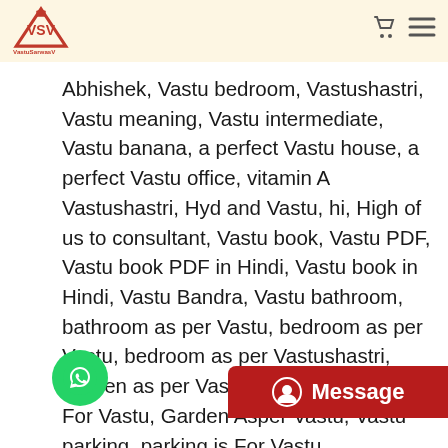VastuSarwasV logo and navigation
Abhishek, Vastu bedroom, Vastushastri, Vastu meaning, Vastu intermediate, Vastu banana, a perfect Vastu house, a perfect Vastu office, vitamin A Vastushastri, Hyd and Vastu, hi, High of us to consultant, Vastu book, Vastu PDF, Vastu book PDF in Hindi, Vastu book in Hindi, Vastu Bandra, Vastu bathroom, bathroom as per Vastu, bedroom as per Vastu, bedroom as per Vastushastri, kitchen as per Vastu, drawing room as For Vastu, Garden Asper Vastu, Vastu parking, parking is For Vastu, Vastuconsultant and Jaipur, Vastuconsultant, Vastuconsultant of Kitchen, Vastuconsultant of bedroom, Vastuconsultant of house, Vastuconsultant of City, Vastuconsultant of Temple, Vastuconsultant of house area